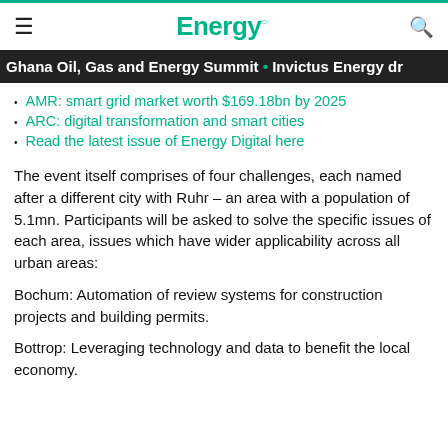Energy.
Ghana Oil, Gas and Energy Summit • Invictus Energy dr
AMR: smart grid market worth $169.18bn by 2025
ARC: digital transformation and smart cities
Read the latest issue of Energy Digital here
The event itself comprises of four challenges, each named after a different city with Ruhr – an area with a population of 5.1mn. Participants will be asked to solve the specific issues of each area, issues which have wider applicability across all urban areas:
Bochum: Automation of review systems for construction projects and building permits.
Bottrop: Leveraging technology and data to benefit the local economy.